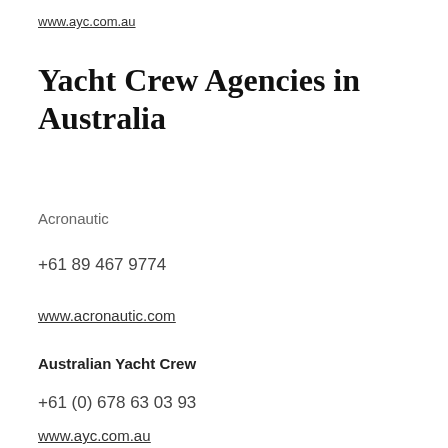www.ayc.com.au
Yacht Crew Agencies in Australia
Acronautic
+61 89 467 9774
www.acronautic.com
Australian Yacht Crew
+61 (0) 678 63 03 93
www.ayc.com.au